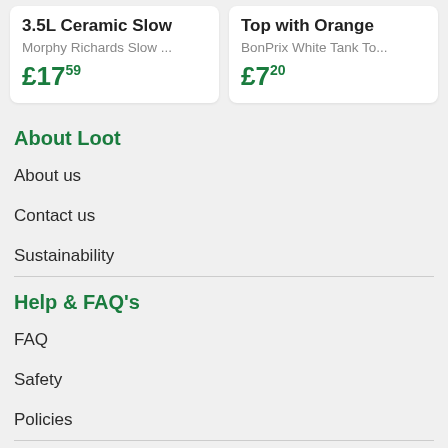3.5L Ceramic Slow
Morphy Richards Slow ...
£17.59
Top with Orange
BonPrix White Tank To...
£7.20
About Loot
About us
Contact us
Sustainability
Help & FAQ's
FAQ
Safety
Policies
Buying & Selling Advice